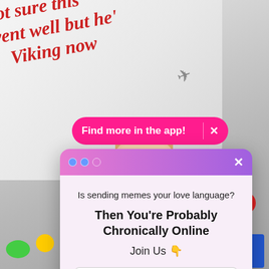[Figure (screenshot): Screenshot of a social media app showing a bathtub scene with a child, overlaid text in red italic reading 'not sure this went well but he's a Viking now' with airplane emoji, a pink 'Find more in the app!' pill button, and a modal popup for newsletter signup with email field and 'Sign Me Up!' button.]
not sure this went well but he's a Viking now ✈
Find more in the app! ×
Is sending memes your love language?
Then You're Probably Chronically Online
Join Us 👇
Email address
Sign Me Up!
No Thanks